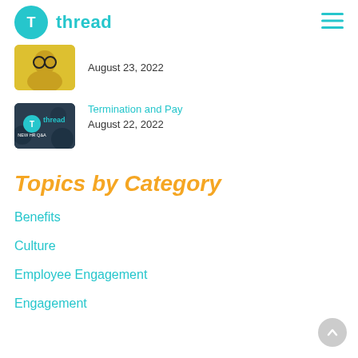thread
[Figure (photo): Person with glasses on yellow background thumbnail]
August 23, 2022
[Figure (logo): Thread logo dark background with NEW HR Q&A text thumbnail]
Termination and Pay
August 22, 2022
Topics by Category
Benefits
Culture
Employee Engagement
Engagement